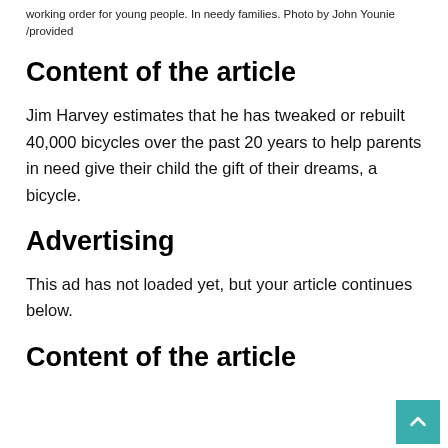working order for young people. In needy families. Photo by John Younie /provided
Content of the article
Jim Harvey estimates that he has tweaked or rebuilt 40,000 bicycles over the past 20 years to help parents in need give their child the gift of their dreams, a bicycle.
Advertising
This ad has not loaded yet, but your article continues below.
Content of the article